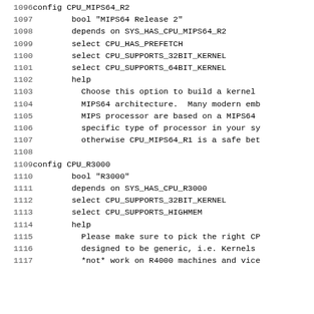Source code listing lines 1096-1117 of a Linux kernel Kconfig file showing CPU_MIPS64_R2 and CPU_R3000 configuration entries